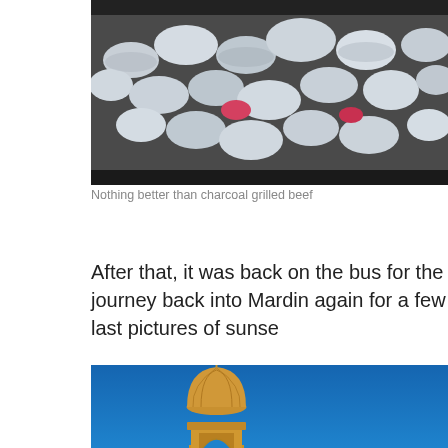[Figure (photo): Close-up photo of charcoal or grey/white rocks in what appears to be a grilling container, partially cropped at top]
Nothing better than charcoal grilled beef
After that, it was back on the bus for the journey back into Mardin again for a few last pictures of sunse
[Figure (photo): A stone minaret tower with ornate dome top against a vivid blue sky, the tower appears to be under some scaffolding, golden/warm sandstone color]